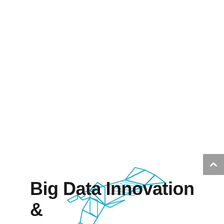[Figure (logo): Origami hummingbird logo in cyan/teal blue outline style, geometric polygonal bird shape with wings spread and detailed line work]
Big Data Innovation &